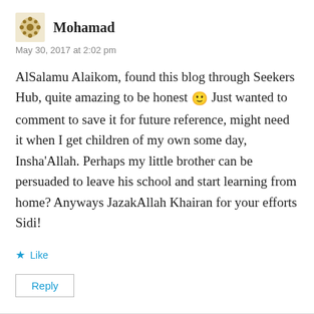Mohamad
May 30, 2017 at 2:02 pm
AlSalamu Alaikom, found this blog through Seekers Hub, quite amazing to be honest 🙂 Just wanted to comment to save it for future reference, might need it when I get children of my own some day, Insha'Allah. Perhaps my little brother can be persuaded to leave his school and start learning from home? Anyways JazakAllah Khairan for your efforts Sidi!
★ Like
Reply